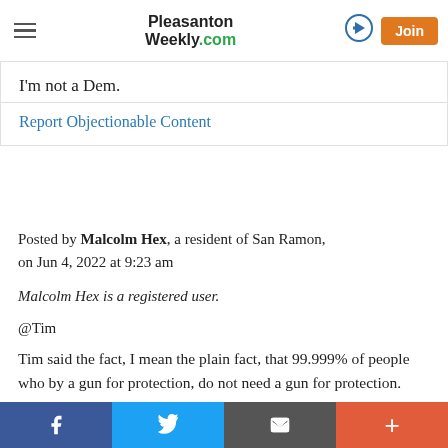Pleasanton Weekly.com
I'm not a Dem.
Report Objectionable Content
Posted by Malcolm Hex, a resident of San Ramon, on Jun 4, 2022 at 9:23 am
Malcolm Hex is a registered user.
@Tim
Tim said the fact, I mean the plain fact, that 99.999% of people who by a gun for protection, do not need a gun for protection. And you know this how? More importantly, do you believe in the 2nd Amendment?
Facebook Twitter Email Plus